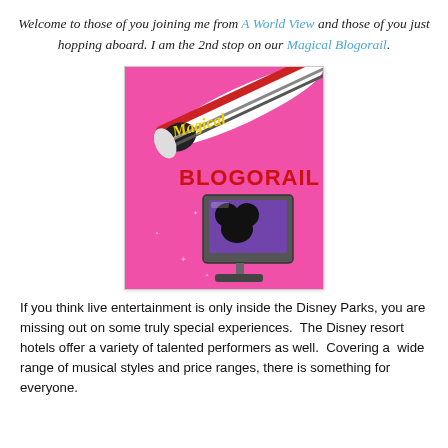Welcome to those of you joining me from A World View and those of you just hopping aboard. I am the 2nd stop on our Magical Blogorail.
[Figure (logo): Magical Blogorail logo: pink background with a white and red monorail train swooshing diagonally, text 'Magical' in yellow script and 'BLOGORAIL' in red block letters, with a computer monitor showing Mickey Mouse ears silhouette on purple screen.]
If you think live entertainment is only inside the Disney Parks, you are missing out on some truly special experiences.  The Disney resort hotels offer a variety of talented performers as well.  Covering a  wide range of musical styles and price ranges, there is something for everyone.